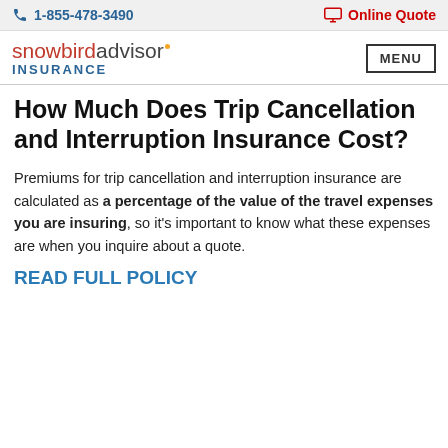1-855-478-3490 | Online Quote
[Figure (logo): Snowbird Advisor Insurance logo with MENU button]
How Much Does Trip Cancellation and Interruption Insurance Cost?
Premiums for trip cancellation and interruption insurance are calculated as a percentage of the value of the travel expenses you are insuring, so it's important to know what these expenses are when you inquire about a quote.
READ FULL POLICY